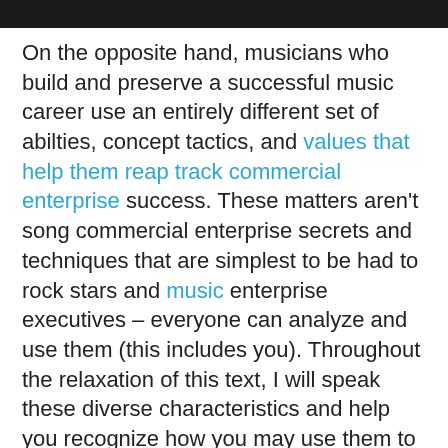On the opposite hand, musicians who build and preserve a successful music career use an entirely different set of abilties, concept tactics, and values that help them reap track commercial enterprise success. These matters aren't song commercial enterprise secrets and techniques that are simplest to be had to rock stars and music enterprise executives – everyone can analyze and use them (this includes you). Throughout the relaxation of this text, I will speak these diverse characteristics and help you recognize how you may use them to benefit your non-public track profession.
Contrary to what you would possibly first assume, mastering to play your tool at an 'expert' degree isn't always protected within the listing underneath. Why? Because it's for a 'given' that you need to be running